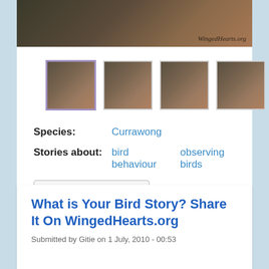[Figure (photo): Hero image of a bird (Currawong) with WingedHearts.org watermark]
[Figure (photo): Four thumbnail images of the same bird photo, first one selected with purple border]
Species:   Currawong
Stories about:   bird behaviour   observing birds
Share / Save
Read more
What is Your Bird Story? Share It On WingedHearts.org
Submitted by Gitie on 1 July, 2010 - 00:53